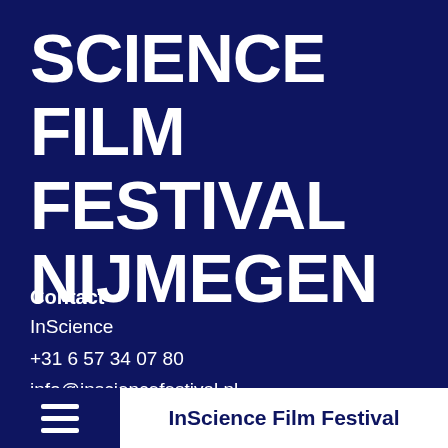SCIENCE FILM FESTIVAL NIJMEGEN
Contact
InScience
+31 6 57 34 07 80
info@insciencefestival.nl
InScience Film Festival